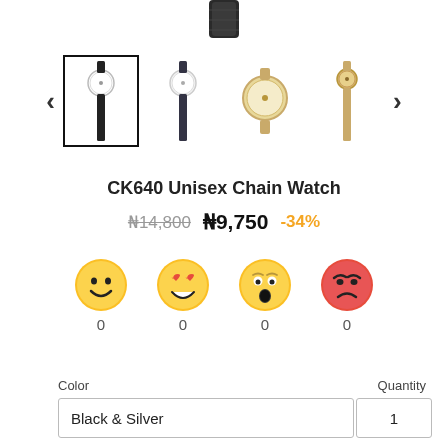[Figure (photo): Partial view of a watch strap/band at the top of the page (cropped)]
[Figure (screenshot): Product image carousel with 4 watch thumbnails and left/right navigation arrows. First thumbnail (black/silver watch) is selected with a border.]
CK640 Unisex Chain Watch
₦14,800  ₦9,750  -34%
[Figure (infographic): Four emoji reaction icons (smiley, heart-eyes, astonished, angry) each with a count of 0 below them.]
Color
Quantity
Black & Silver
1